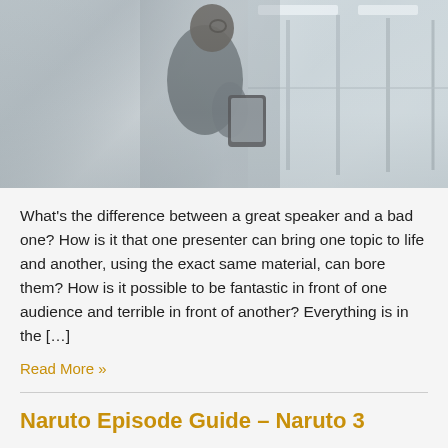[Figure (photo): A person seen from behind/side standing in an office or corridor with large windows, holding a tablet device. The image is in muted, cool-toned colors with bright light coming through the windows.]
What's the difference between a great speaker and a bad one? How is it that one presenter can bring one topic to life and another, using the exact same material, can bore them? How is it possible to be fantastic in front of one audience and terrible in front of another? Everything is in the […]
Read More »
Naruto Episode Guide – Naruto 3